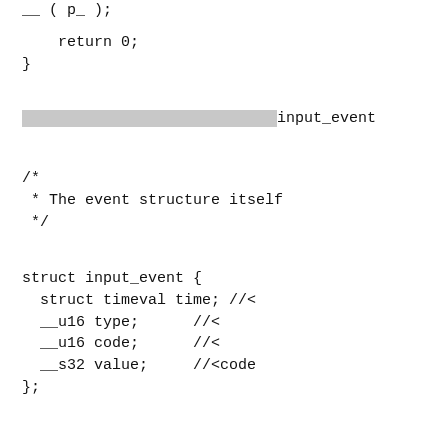__ ( p_ );
return 0;
}
（highlighted）input_event
/*
 * The event structure itself
 */
struct input_event {
  struct timeval time; //<（Japanese chars）
  __u16 type;      //<（Japanese chars）
  __u16 code;      //<（Japanese chars）
  __s32 value;     //<code（chars）
};